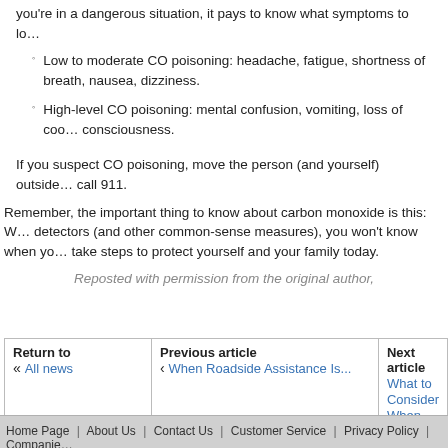you're in a dangerous situation, it pays to know what symptoms to look for.
Low to moderate CO poisoning: headache, fatigue, shortness of breath, nausea, dizziness.
High-level CO poisoning: mental confusion, vomiting, loss of coordination, loss of consciousness.
If you suspect CO poisoning, move the person (and yourself) outside immediately and call 911.
Remember, the important thing to know about carbon monoxide is this: Without CO detectors (and other common-sense measures), you won't know when you're at risk. So take steps to protect yourself and your family today.
Reposted with permission from the original author,
| Return to | Previous article | Next article |
| --- | --- | --- |
| « All news | ‹ When Roadside Assistance Is... | What to Consider When Ch... |
Home Page | About Us | Contact Us | Customer Service | Privacy Policy | Companies